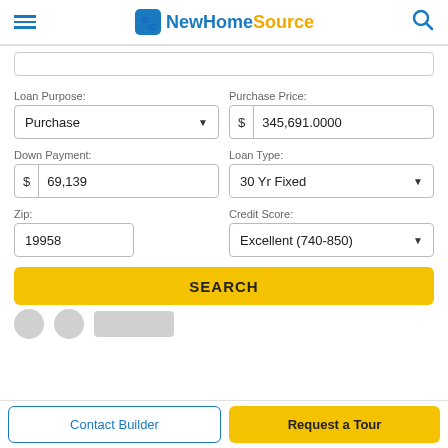NewHomeSource
Loan Purpose: Purchase
Purchase Price: 345,691.0000
Down Payment: $ 69,139
Loan Type: 30 Yr Fixed
Zip: 19958
Credit Score: Excellent (740-850)
SEARCH
Contact Builder | Request a Tour